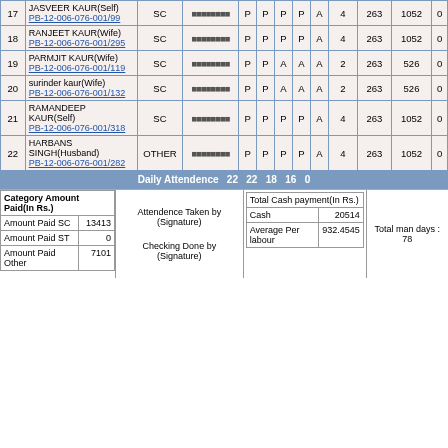| # | Name | Category | Symbol | D1 | D2 | D3 | D4 | D5 | Count | Rate | Amount | Extra |
| --- | --- | --- | --- | --- | --- | --- | --- | --- | --- | --- | --- | --- |
| 17 | JASVEER KAUR(Self) PB-12-006-076-001/99 | SC | oooooooo | P | P | P | P | A | 4 | 263 | 1052 | 0 |
| 18 | RANJEET KAUR(Wife) PB-12-006-076-001/295 | SC | oooooooo | P | P | P | P | A | 4 | 263 | 1052 | 0 |
| 19 | PARMJIT KAUR(Wife) PB-12-006-076-001/119 | SC | oooooooo | P | P | A | A | A | 2 | 263 | 526 | 0 |
| 20 | surinder kaur(Wife) PB-12-006-076-001/132 | SC | oooooooo | P | P | A | A | A | 2 | 263 | 526 | 0 |
| 21 | RAMANDEEP KAUR(Self) PB-12-006-076-001/318 | SC | oooooooo | P | P | P | P | A | 4 | 263 | 1052 | 0 |
| 22 | HARBANS SINGH(Husband) PB-12-006-076-001/282 | OTHER | oooooooo | P | P | P | P | A | 4 | 263 | 1052 | 0 |
Daily Attendence  22  22  18  16  0
| Category Amount Paid(In Rs.) |  |
| --- | --- |
| Amount Paid SC | 13413 |
| Amount Paid ST | 0 |
| Amount Paid Other | 7101 |
Attendence Taken by (Signature)

Checking Done by (Signature)
| Total Cash payment(In Rs.) |  |
| --- | --- |
| Cash | 20514 |
| Average Per labour | 932.4545 |
Total man days : 78